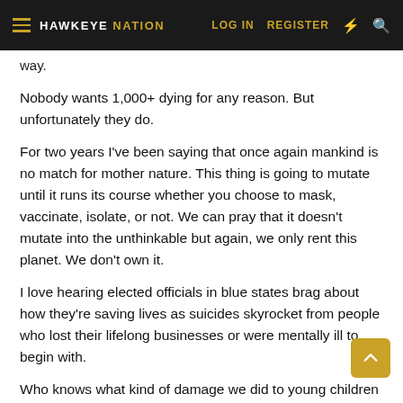HAWKEYE NATION — LOG IN  REGISTER
way.
Nobody wants 1,000+ dying for any reason. But unfortunately they do.
For two years I've been saying that once again mankind is no match for mother nature. This thing is going to mutate until it runs its course whether you choose to mask, vaccinate, isolate, or not. We can pray that it doesn't mutate into the unthinkable but again, we only rent this planet. We don't own it.
I love hearing elected officials in blue states brag about how they're saving lives as suicides skyrocket from people who lost their lifelong businesses or were mentally ill to begin with.
Who knows what kind of damage we did to young children by isolating them, which some parents continue to do.
More people have died from this thing under Biden's watch than Trump's, yet Biden doesn't get raked over the coals by the